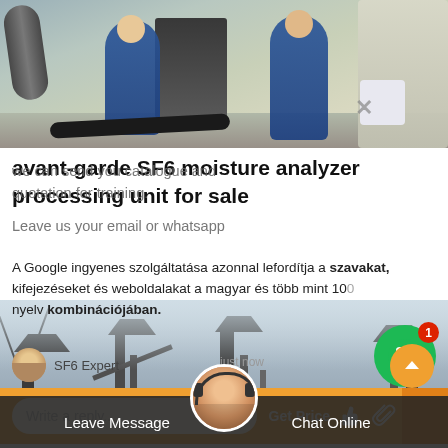[Figure (photo): Industrial scene showing workers in blue overalls near equipment on a rooftop or outdoor area, with pipes, a dark bin/container, and hoses.]
avant-garde SF6 moisture analyzer processing unit for sale
A Google ingyenes szolgáltatása azonnal lefordítja a szavakat, kifejezéseket és weboldalakat a magyar és több mint 100 nyelv kombinációjában.
we can send you catalogue and quotation for training.
Leave us your email or whatsapp
SF6 Expert    just now
[Figure (photo): Industrial infrastructure silhouettes including transmission towers, cranes and industrial structures against a grey sky background.]
Leave Message    Chat Online